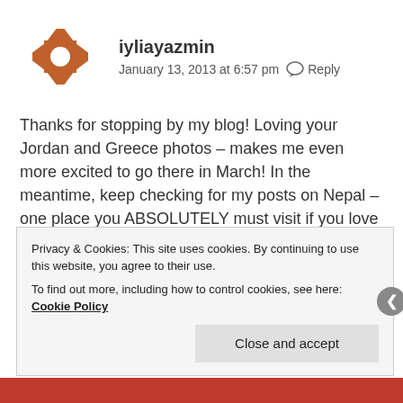[Figure (illustration): Orange geometric avatar icon with cross/drone shape design]
iyliayazmin
January 13, 2013 at 6:57 pm  Reply
Thanks for stopping by my blog! Loving your Jordan and Greece photos – makes me even more excited to go there in March! In the meantime, keep checking for my posts on Nepal – one place you ABSOLUTELY must visit if you love ancient cities!
Cheers!
Privacy & Cookies: This site uses cookies. By continuing to use this website, you agree to their use.
To find out more, including how to control cookies, see here: Cookie Policy
Close and accept